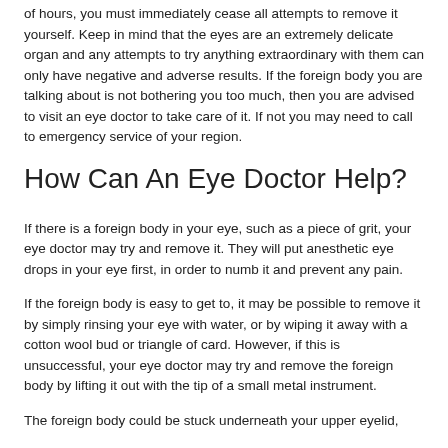of hours, you must immediately cease all attempts to remove it yourself. Keep in mind that the eyes are an extremely delicate organ and any attempts to try anything extraordinary with them can only have negative and adverse results. If the foreign body you are talking about is not bothering you too much, then you are advised to visit an eye doctor to take care of it. If not you may need to call to emergency service of your region.
How Can An Eye Doctor Help?
If there is a foreign body in your eye, such as a piece of grit, your eye doctor may try and remove it. They will put anesthetic eye drops in your eye first, in order to numb it and prevent any pain.
If the foreign body is easy to get to, it may be possible to remove it by simply rinsing your eye with water, or by wiping it away with a cotton wool bud or triangle of card. However, if this is unsuccessful, your eye doctor may try and remove the foreign body by lifting it out with the tip of a small metal instrument.
The foreign body could be stuck underneath your upper eyelid,